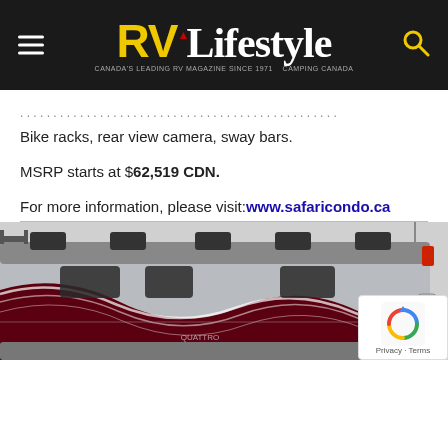RV Lifestyle — Canada's leading RV magazine since 1971 — Camping Canada
Bike racks, rear view camera, sway bars.
MSRP starts at $62,519 CDN.
For more information, please visit: www.safaricondo.ca
[Figure (photo): Partial front/side view of a large Class A motorhome RV with silver body and dark maroon/black swirling graphic design along the lower side panels. Multiple rooftop air conditioning units visible on roof.]